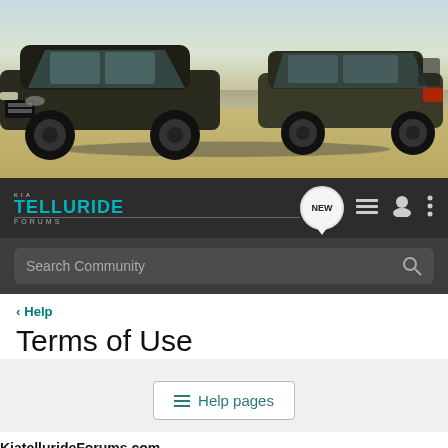[Figure (photo): Two Kia Telluride SUVs driving on a desert road, front-left view of dark green/black vehicle and rear-right view of another dark vehicle against sandy terrain background.]
KIA TELLURIDE FORUMS — Navigation bar with NEW badge, list icon, user icon, and menu icon
Search Community
< Help
Terms of Use
≡ Help pages
KiatellurideForums.com
WEB SITE TERMS & CONDITIONS OF USE
KiatellurideForums.com is owned and operated by VerticalScope